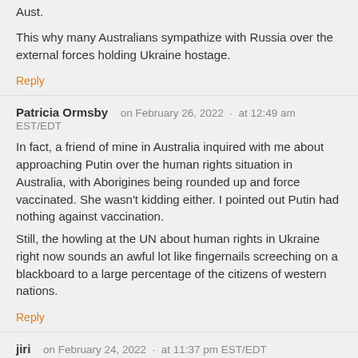Aust.
This why many Australians sympathize with Russia over the external forces holding Ukraine hostage.
Reply
Patricia Ormsby   on February 26, 2022  ·  at 12:49 am EST/EDT
In fact, a friend of mine in Australia inquired with me about approaching Putin over the human rights situation in Australia, with Aborigines being rounded up and force vaccinated. She wasn't kidding either. I pointed out Putin had nothing against vaccination.
Still, the howling at the UN about human rights in Ukraine right now sounds an awful lot like fingernails screeching on a blackboard to a large percentage of the citizens of western nations.
Reply
jiri   on February 24, 2022  ·  at 11:37 pm EST/EDT
It will be interesting to see the US response.